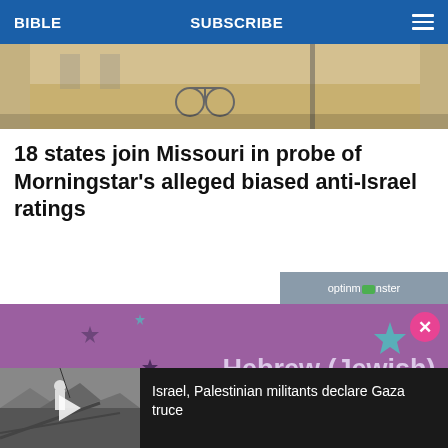BIBLE   SUBSCRIBE   ≡
[Figure (photo): Partial view of a building exterior with bicycles, cropped at top]
18 states join Missouri in probe of Morningstar's alleged biased anti-Israel ratings
[Figure (screenshot): optinmonster badge/watermark in grey]
[Figure (infographic): Purple promotional popup banner for Hebrew (Jewish) Birthday Calculator with decorative stars and close button]
[Figure (screenshot): Video player strip at bottom showing Gaza destruction scene with play button. Caption reads: Israel, Palestinian militants declare Gaza truce]